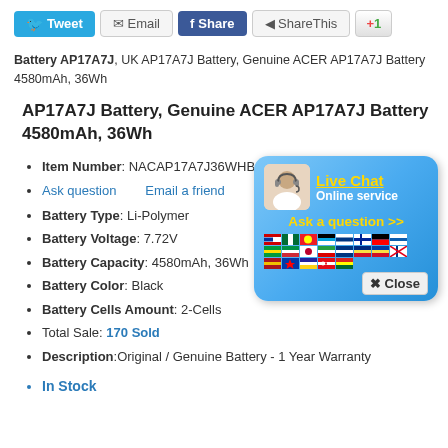[Figure (other): Social sharing buttons: Tweet, Email, Share (Facebook), ShareThis, +1]
Battery AP17A7J, UK AP17A7J Battery, Genuine ACER AP17A7J Battery 4580mAh, 36Wh
AP17A7J Battery, Genuine ACER AP17A7J Battery 4580mAh, 36Wh
Item Number: NACAP17A7J36WHB2
Ask question   Email a friend
Battery Type: Li-Polymer
Battery Voltage: 7.72V
Battery Capacity: 4580mAh, 36Wh
Battery Color: Black
Battery Cells Amount: 2-Cells
Total Sale: 170 Sold
Description:Original / Genuine Battery - 1 Year Warranty
In Stock